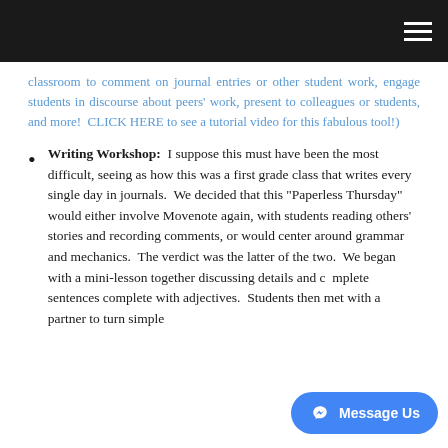[navigation header with hamburger menu]
classroom to comment on journal entries or other student work, engage students in discourse about peers' work, present to colleagues or students, and more!  CLICK HERE to see a tutorial video for this fabulous tool!)
Writing Workshop:  I suppose this must have been the most difficult, seeing as how this was a first grade class that writes every single day in journals.  We decided that this "Paperless Thursday" would either involve Movenote again, with students reading others' stories and recording comments, or would center around grammar and mechanics.  The verdict was the latter of the two.  We began with a mini-lesson together discussing details and complete sentences complete with adjectives.  Students then met with a partner to turn simple